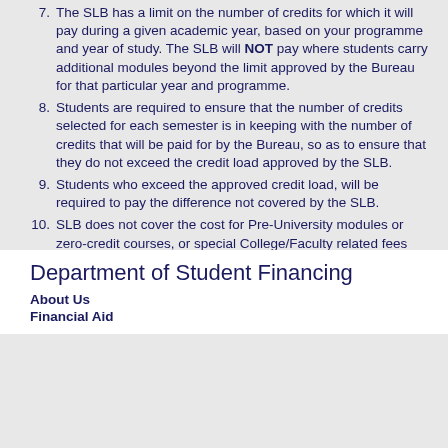7. The SLB has a limit on the number of credits for which it will pay during a given academic year, based on your programme and year of study. The SLB will NOT pay where students carry additional modules beyond the limit approved by the Bureau for that particular year and programme.
8. Students are required to ensure that the number of credits selected for each semester is in keeping with the number of credits that will be paid for by the Bureau, so as to ensure that they do not exceed the credit load approved by the SLB.
9. Students who exceed the approved credit load, will be required to pay the difference not covered by the SLB.
10. SLB does not cover the cost for Pre-University modules or zero-credit courses, or special College/Faculty related fees
11. Students must follow-up with the Bureau to ensure that they have paid the agreed fees for each academic year. Please note that students will NOT be allowed to sit examinations with outstanding fees.
Department of Student Financing
About Us
Financial Aid